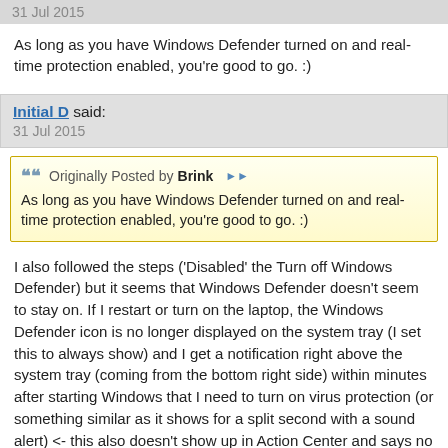31 Jul 2015
As long as you have Windows Defender turned on and real-time protection enabled, you're good to go. :)
Initial D said:
31 Jul 2015
Originally Posted by Brink
As long as you have Windows Defender turned on and real-time protection enabled, you're good to go. :)
I also followed the steps ('Disabled' the Turn off Windows Defender) but it seems that Windows Defender doesn't seem to stay on. If I restart or turn on the laptop, the Windows Defender icon is no longer displayed on the system tray (I set this to always show) and I get a notification right above the system tray (coming from the bottom right side) within minutes after starting Windows that I need to turn on virus protection (or something similar as it shows for a split second with a sound alert) <- this also doesn't show up in Action Center and says no new notifications which is...